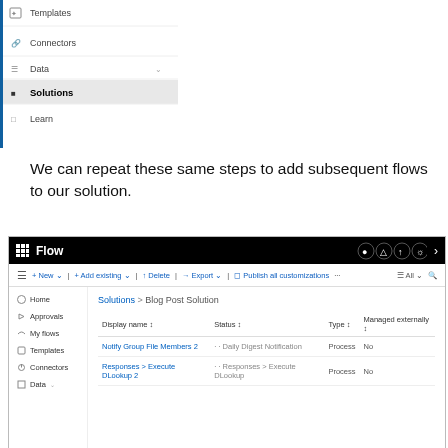[Figure (screenshot): Partial sidebar navigation screenshot showing menu items: Templates, Connectors, Data (with dropdown), Solutions (highlighted/active), Learn]
We can repeat these same steps to add subsequent flows to our solution.
[Figure (screenshot): Microsoft Flow interface screenshot showing Solutions > Blog Post Solution page with two flow entries: 'Notify Group File Members 2' (Daily Digest Notification, Process, No) and 'Responses > Execute DLookup 2' (Responses > Execute DLookup, Process, No). Has top nav bar with Flow title, toolbar with New, Add existing, Delete, Export, Run/add customizations buttons, and left navigation items: Home, Approvals, My flows, Templates, Connectors, Data.]